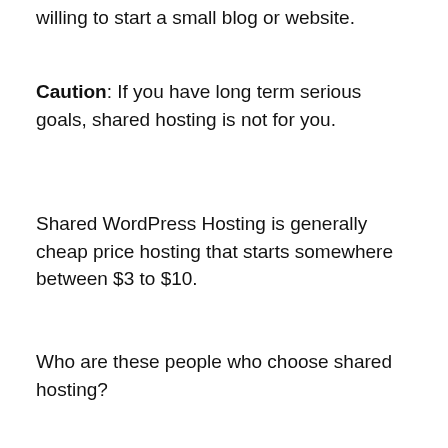willing to start a small blog or website.
Caution: If you have long term serious goals, shared hosting is not for you.
Shared WordPress Hosting is generally cheap price hosting that starts somewhere between $3 to $10.
Who are these people who choose shared hosting?